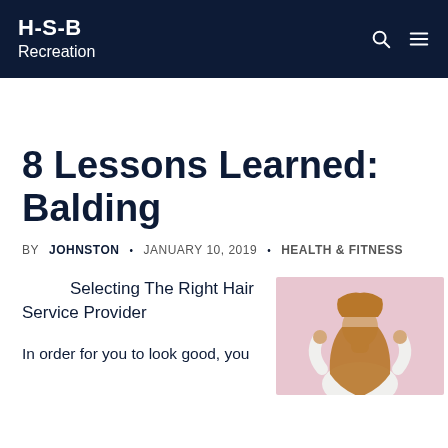H-S-B Recreation
8 Lessons Learned: Balding
BY JOHNSTON • JANUARY 10, 2019 • HEALTH & FITNESS
Selecting The Right Hair Service Provider
In order for you to look good, you
[Figure (photo): Woman with long hair viewed from behind, hands on head, pink background]